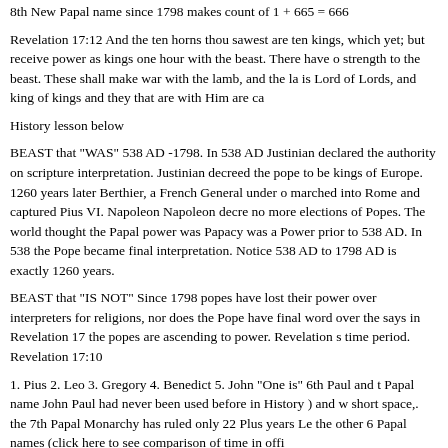8th New Papal name since 1798 makes count of 1 + 665 = 666
Revelation 17:12 And the ten horns thou sawest are ten kings, which yet; but receive power as kings one hour with the beast. There have strength to the beast. These shall make war with the lamb, and the la is Lord of Lords, and king of kings and they that are with Him are ca
History lesson below
BEAST that "WAS" 538 AD -1798. In 538 AD Justinian declared the authority on scripture interpretation. Justinian decreed the pope to be kings of Europe. 1260 years later Berthier, a French General under o marched into Rome and captured Pius VI. Napoleon Napoleon decre no more elections of Popes. The world thought the Papal power was Papacy was a Power prior to 538 AD. In 538 the Pope became final interpretation. Notice 538 AD to 1798 AD is exactly 1260 years.
BEAST that "IS NOT" Since 1798 popes have lost their power over interpreters for religions, nor does the Pope have final word over the says in Revelation 17 the popes are ascending to power. Revelation s time period. Revelation 17:10
1. Pius 2. Leo 3. Gregory 4. Benedict 5. John "One is" 6th Paul and t Papal name John Paul had never been used before in History ) and w short space,. the 7th Papal Monarchy has ruled only 22 Plus years Le the other 6 Papal names (click here to see comparison of time in offi